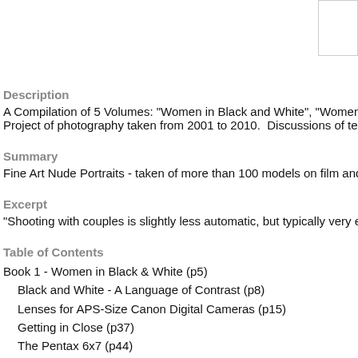[Figure (other): Small white rectangle box in top-right corner]
Description
A Compilation of 5 Volumes: "Women in Black and White", "Women in Color", "Men... Project of photography taken from 2001 to 2010. Discussions of techniques, equipme...
Summary
Fine Art Nude Portraits - taken of more than 100 models on film and digital.
Excerpt
"Shooting with couples is slightly less automatic, but typically very easy if approached...
Table of Contents
Book 1 - Women in Black & White (p5)
Black and White - A Language of Contrast (p8)
Lenses for APS-Size Canon Digital Cameras (p15)
Getting in Close (p37)
The Pentax 6x7 (p44)
Book 2 - Women in Color (p47)